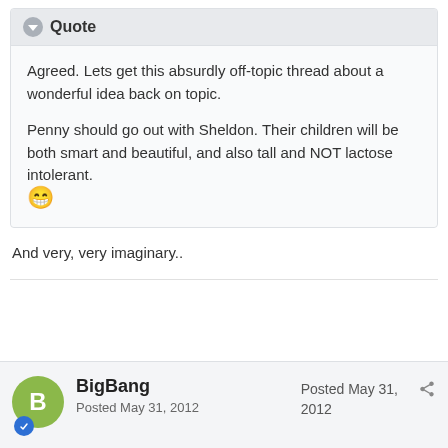Quote
Agreed. Lets get this absurdly off-topic thread about a wonderful idea back on topic.

Penny should go out with Sheldon. Their children will be both smart and beautiful, and also tall and NOT lactose intolerant. 😄
And very, very imaginary..
BigBang
Posted May 31, 2012
Posted May 31, 2012